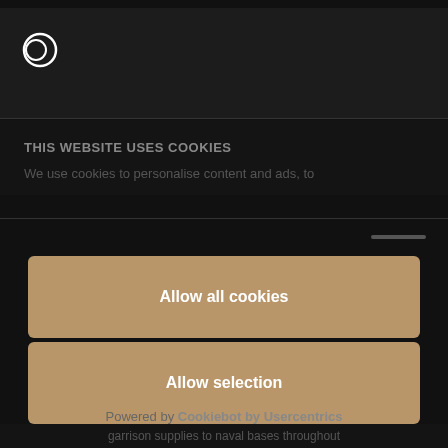[Figure (screenshot): Cookie consent modal overlay on a dark-themed website. Shows a circular logo icon, cookie notice title and text, three buttons (Allow all cookies, Allow selection, Deny), and a Powered by Cookiebot by Usercentrics footer.]
THIS WEBSITE USES COOKIES
We use cookies to personalise content and ads, to
Allow all cookies
Allow selection
Deny
Powered by Cookiebot by Usercentrics
garrison supplies to naval bases throughout